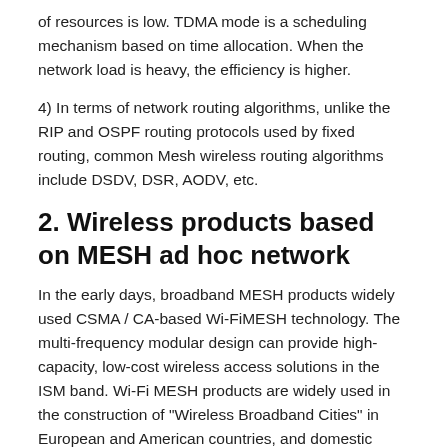of resources is low. TDMA mode is a scheduling mechanism based on time allocation. When the network load is heavy, the efficiency is higher.
4) In terms of network routing algorithms, unlike the RIP and OSPF routing protocols used by fixed routing, common Mesh wireless routing algorithms include DSDV, DSR, AODV, etc.
2. Wireless products based on MESH ad hoc network
In the early days, broadband MESH products widely used CSMA / CA-based Wi-FiMESH technology. The multi-frequency modular design can provide high-capacity, low-cost wireless access solutions in the ISM band. Wi-Fi MESH products are widely used in the construction of "Wireless Broadband Cities" in European and American countries, and domestic operators, schools, enterprises, factories, etc. are also widely used. During this period, a large number of Wi-FiMESH